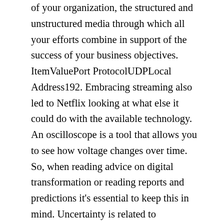of your organization, the structured and unstructured media through which all your efforts combine in support of the success of your business objectives. ItemValuePort ProtocolUDPLocal Address192. Embracing streaming also led to Netflix looking at what else it could do with the available technology. An oscilloscope is a tool that allows you to see how voltage changes over time. So, when reading advice on digital transformation or reading reports and predictions it's essential to keep this in mind. Uncertainty is related to confusion, an associated state that aligns with both the cognitive and affective components of engagement D'Mello and Graesser, 2014. One thing's clear it's the customer who is in the driver's seat. The bank can build client rapport with financial tips, advice, or offers tailored to a client's interests and needs. " Belch and Belch argue that IMC has become the dominant approach used by companies to plan and execute their marketing communication programs while other scholars have described IMC as a paradigm shift. 3D printing is a digitally operated manufacturing technology in which physical objects are printed by a 3D printer based on the specification of a digital 3D model. Open Banking is facilitated